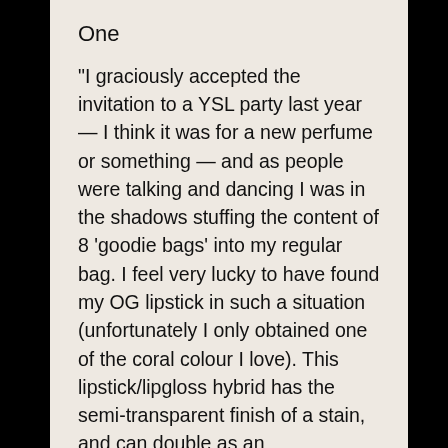One
“I graciously accepted the invitation to a YSL party last year — I think it was for a new perfume or something — and as people were talking and dancing I was in the shadows stuffing the content of 8 ‘goodie bags’ into my regular bag. I feel very lucky to have found my OG lipstick in such a situation (unfortunately I only obtained one of the coral colour I love). This lipstick/lipgloss hybrid has the semi-transparent finish of a stain, and can double as an eyeshadow/blush.”
Shop now
Klara Liquid Eyeliner
Two